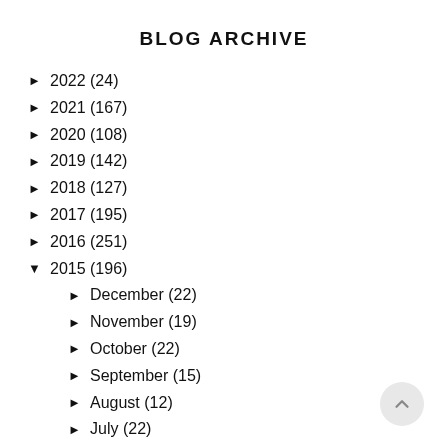BLOG ARCHIVE
► 2022 (24)
► 2021 (167)
► 2020 (108)
► 2019 (142)
► 2018 (127)
► 2017 (195)
► 2016 (251)
▼ 2015 (196)
► December (22)
► November (19)
► October (22)
► September (15)
► August (12)
► July (22)
► June (14)